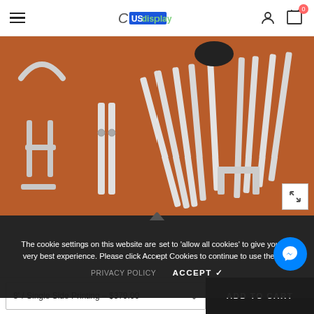US Display - navigation header with hamburger menu, logo, account icon, and cart (0)
[Figure (photo): Product photo showing disassembled metal frame parts (poles, connectors, brackets) laid out on a brown/orange surface — parts for a display stand assembly]
The cookie settings on this website are set to 'allow all cookies' to give you the very best experience. Please click Accept Cookies to continue to use the site.
PRIVACY POLICY   ACCEPT ✓
Assembly Guide
8' / Single Side Printing – $379.00
ADD TO CART